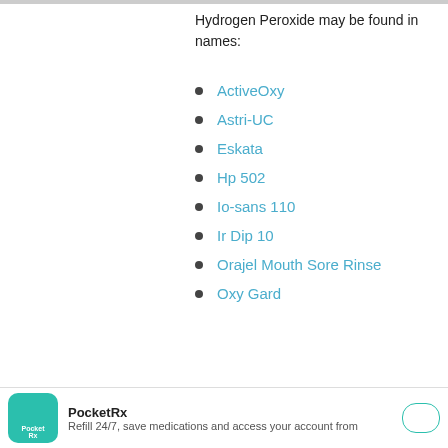Hydrogen Peroxide may be found in names:
ActiveOxy
Astri-UC
Eskata
Hp 502
Io-sans 110
Ir Dip 10
Orajel Mouth Sore Rinse
Oxy Gard
PocketRx — Refill 24/7, save medications and access your account from